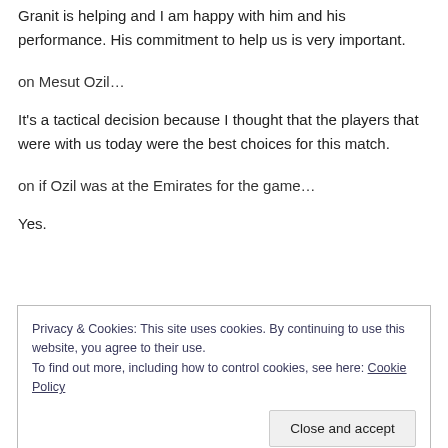Granit is helping and I am happy with him and his performance. His commitment to help us is very important.
on Mesut Ozil…
It's a tactical decision because I thought that the players that were with us today were the best choices for this match.
on if Ozil was at the Emirates for the game…
Yes.
Privacy & Cookies: This site uses cookies. By continuing to use this website, you agree to their use.
To find out more, including how to control cookies, see here: Cookie Policy
Close and accept